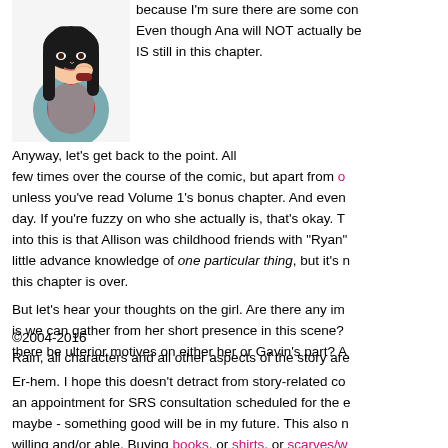[Figure (illustration): Anime-style illustration of a young woman with long dark hair, wearing a teal/grey jacket over a red top, hand raised near her face in a thoughtful or shy pose.]
because I'm sure there are some con... Even though Ana will NOT actually be... IS still in this chapter.
Anyway, let's get back to the point. All... few times over the course of the comic, but apart from o... unless you've read Volume 1's bonus chapter. And even... day. If you're fuzzy on who she actually is, that's okay. T... into this is that Allison was childhood friends with "Ryan"... little advance knowledge of one particular thing, but it's n... this chapter is over.
But let's hear your thoughts on the girl. Are there any im... is we can gather from her short presence in this scene?... there be ulterior motives on either her or Gavin's part? A...
©2004-2016
Rain, all characters and all other aspects of the story are...
Er-hem. I hope this doesn't detract from story-related co... an appointment for SRS consultation scheduled for the e... maybe - something good will be in my future. This also n... willing and/or able. Buying books, or shirts, or scarves/w... now. Obviously, if you are unable to or don't want to offe...